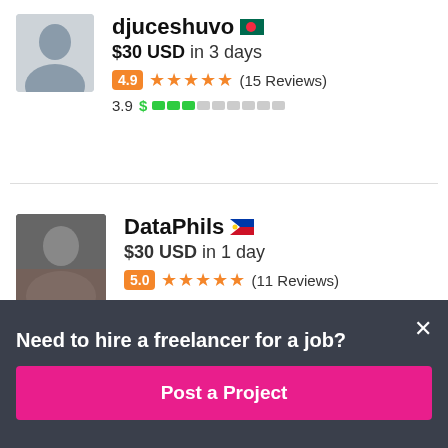djuceshuvo 🇧🇩
$30 USD in 3 days
4.9 ★★★★★ (15 Reviews)
3.9 $ ████░░░░░
DataPhils 🇵🇭
$30 USD in 1 day
5.0 ★★★★★ (11 Reviews)
Need to hire a freelancer for a job?
Post a Project